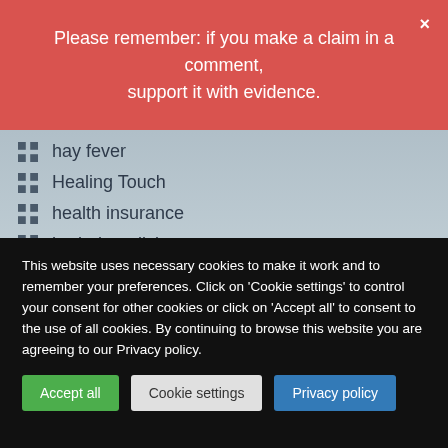Please remember: if you make a claim in a comment, support it with evidence.
hay fever
Healing Touch
health insurance
herbal medicine
HIV
holistic
homeopathy
hypercholesterolemia
hypnotherapy
This website uses necessary cookies to make it work and to remember your preferences. Click on 'Cookie settings' to control your consent for other cookies or click on 'Accept all' to consent to the use of all cookies. By continuing to browse this website you are agreeing to our Privacy policy.